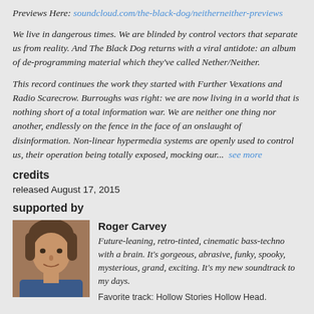Previews Here: soundcloud.com/the-black-dog/neitherneither-previews
We live in dangerous times. We are blinded by control vectors that separate us from reality. And The Black Dog returns with a viral antidote: an album of de-programming material which they've called Nether/Neither.
This record continues the work they started with Further Vexations and Radio Scarecrow. Burroughs was right: we are now living in a world that is nothing short of a total information war. We are neither one thing nor another, endlessly on the fence in the face of an onslaught of disinformation. Non-linear hypermedia systems are openly used to control us, their operation being totally exposed, mocking our...  see more
credits
released August 17, 2015
supported by
[Figure (photo): Headshot photo of Roger Carvey, a middle-aged man]
Roger Carvey
Future-leaning, retro-tinted, cinematic bass-techno with a brain. It's gorgeous, abrasive, funky, spooky, mysterious, grand, exciting. It's my new soundtrack to my days.
Favorite track: Hollow Stories Hollow Head.